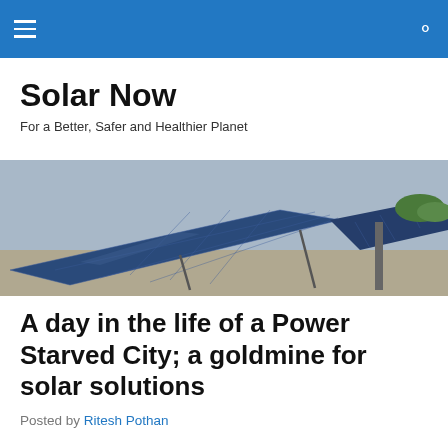Solar Now — navigation bar with hamburger menu and search icon
Solar Now
For a Better, Safer and Healthier Planet
[Figure (photo): Large solar panels mounted on metal frames outdoors, angled toward the sky, with gravel ground and green foliage in the background.]
A day in the life of a Power Starved City; a goldmine for solar solutions
Posted by Ritesh Pothan